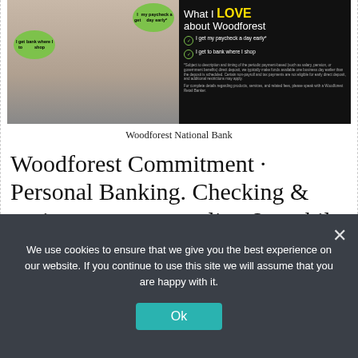[Figure (photo): Woodforest National Bank advertisement showing a woman with thought bubbles ('I get to bank where I shop', 'I get my paycheck a day early*') on the left, and on the right a dark panel with 'What I LOVE about Woodforest' with two checkmark items and disclaimer text.]
Woodforest National Bank
Woodforest Commitment · Personal Banking. Checking & savings accounts, online & mobile banking, debit cards, and more. Our products and services are designed to ...
We use cookies to ensure that we give you the best experience on our website. If you continue to use this site we will assume that you are happy with it.